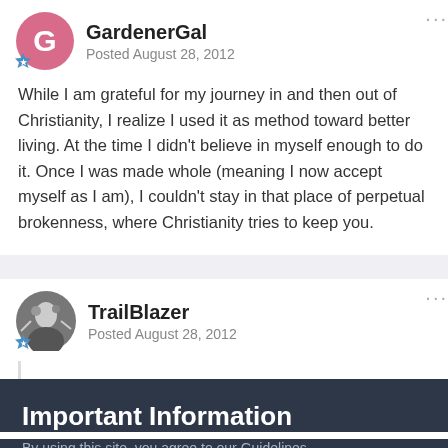GardenerGal — Posted August 28, 2012
While I am grateful for my journey in and then out of Christianity, I realize I used it as method toward better living. At the time I didn't believe in myself enough to do it. Once I was made whole (meaning I now accept myself as I am), I couldn't stay in that place of perpetual brokenness, where Christianity tries to keep you.
TrailBlazer — Posted August 28, 2012
Important Information
By using this site, you agree to our Guidelines.
✓ I accept